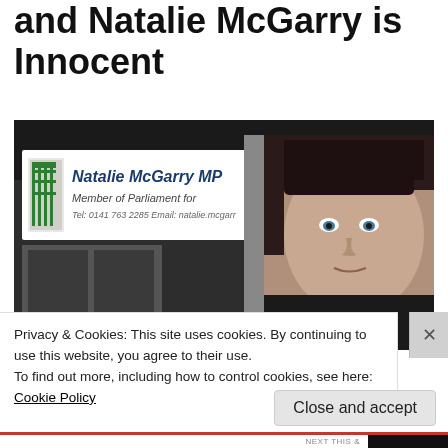and Natalie McGarry is Innocent
[Figure (photo): Photo of Natalie McGarry standing in front of a sign reading 'Natalie McGarry MP, Member of Parliament for', with contact details Tel: 0141 763 2285, Email: natalie.mcgarr... The sign has a Parliament portcullis logo. Natalie McGarry is visible on the right side of the image.]
Privacy & Cookies: This site uses cookies. By continuing to use this website, you agree to their use.
To find out more, including how to control cookies, see here:
Cookie Policy
Close and accept